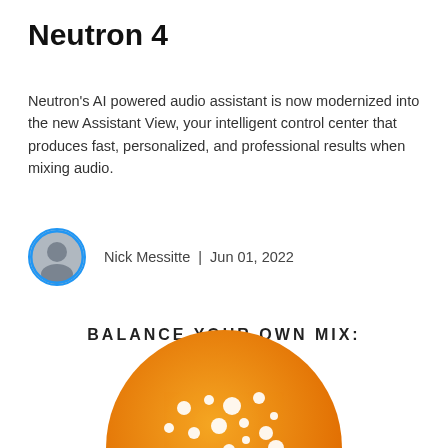Neutron 4
Neutron's AI powered audio assistant is now modernized into the new Assistant View, your intelligent control center that produces fast, personalized, and professional results when mixing audio.
Nick Messitte | Jun 01, 2022
BALANCE YOUR OWN MIX:
[Figure (illustration): Orange circular disc with white dot pattern, partially visible at bottom of page]